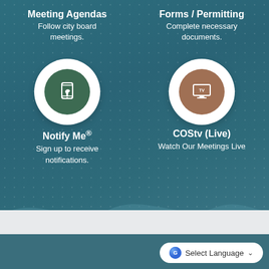Meeting Agendas
Follow city board meetings.
[Figure (illustration): White circle with dark green inner circle containing a hand tapping a smartphone icon (touch/mobile icon)]
Forms / Permitting
Complete necessary documents.
[Figure (illustration): White circle with brown/tan inner circle containing a TV/monitor icon with 'TV' text]
Notify Me®
Sign up to receive notifications.
COStv (Live)
Watch Our Meetings Live
Select Language